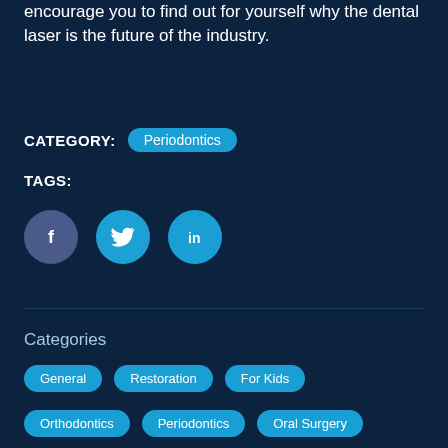encourage you to find out for yourself why the dental laser is the future of the industry.
CATEGORY: Periodontics
TAGS:
[Figure (infographic): Social media share buttons: Facebook (dark blue circle with f), Twitter (blue circle with bird icon), LinkedIn (blue circle with 'in')]
Categories
General
Restoration
For Kids
Orthodontics
Periodontics
Oral Surgery